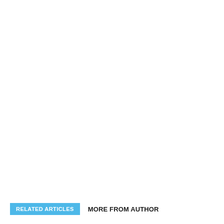RELATED ARTICLES
MORE FROM AUTHOR